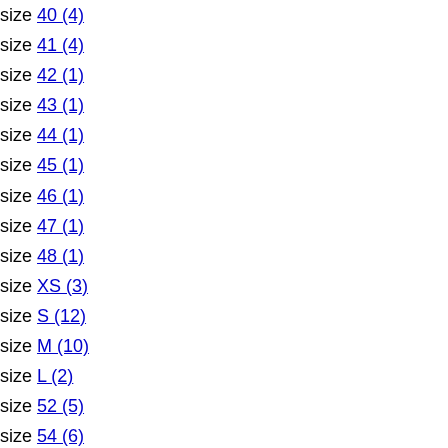size 40 (4)
size 41 (4)
size 42 (1)
size 43 (1)
size 44 (1)
size 45 (1)
size 46 (1)
size 47 (1)
size 48 (1)
size XS (3)
size S (12)
size M (10)
size L (2)
size 52 (5)
size 54 (6)
size 58 (1)
size 60 (4)
size 62 (4)
size U (99)
Gender
Women (7)
Men (2)
Unisex (4)